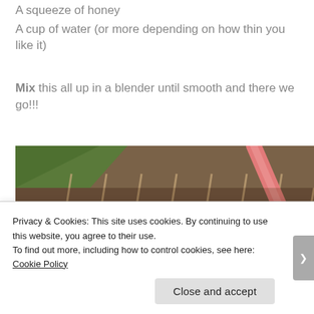A squeeze of honey
A cup of water (or more depending on how thin you like it)
Mix this all up in a blender until smooth and there we go!!!
[Figure (photo): Outdoor photo showing a brick or stone wall with a pink straw/rod visible diagonally, green grass visible at the top left]
Privacy & Cookies: This site uses cookies. By continuing to use this website, you agree to their use.
To find out more, including how to control cookies, see here: Cookie Policy
Close and accept